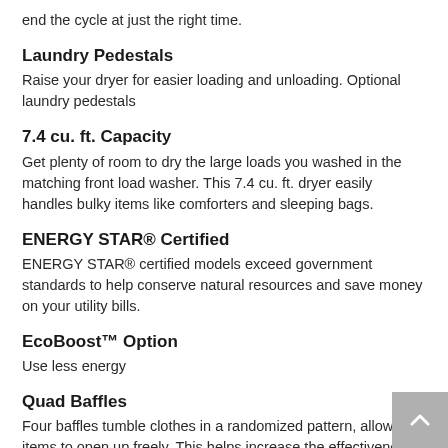end the cycle at just the right time.
Laundry Pedestals
Raise your dryer for easier loading and unloading. Optional laundry pedestals
7.4 cu. ft. Capacity
Get plenty of room to dry the large loads you washed in the matching front load washer. This 7.4 cu. ft. dryer easily handles bulky items like comforters and sleeping bags.
ENERGY STAR® Certified
ENERGY STAR® certified models exceed government standards to help conserve natural resources and save money on your utility bills.
EcoBoost™ Option
Use less energy
Quad Baffles
Four baffles tumble clothes in a randomized pattern, allowing items to open up freely. This helps increase the effectiveness of the dryer for small loads